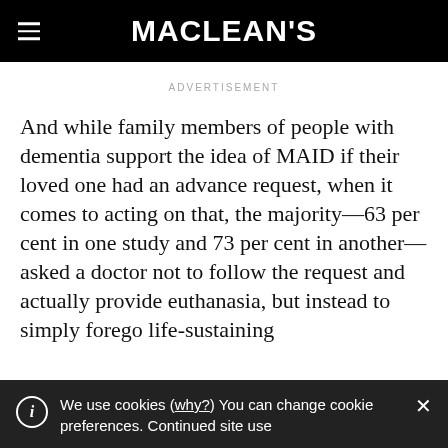MACLEAN'S
ADVERTISEMENT
And while family members of people with dementia support the idea of MAID if their loved one had an advance request, when it comes to acting on that, the majority—63 per cent in one study and 73 per cent in another—asked a doctor not to follow the request and actually provide euthanasia, but instead to simply forego life-sustaining
We use cookies (why?) You can change cookie preferences. Continued site use